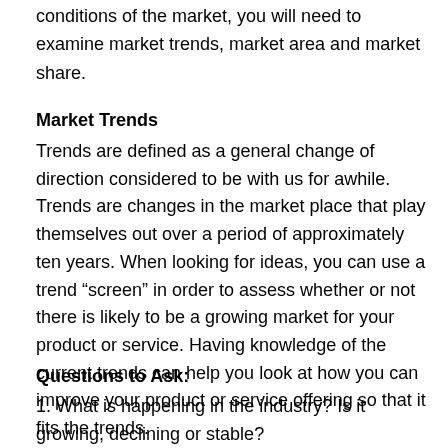conditions of the market, you will need to examine market trends, market area and market share.
Market Trends
Trends are defined as a general change of direction considered to be with us for awhile. Trends are changes in the market place that play themselves out over a period of approximately ten years. When looking for ideas, you can use a trend “screen” in order to assess whether or not there is likely to be a growing market for your product or service. Having knowledge of the current trends can help you look at how you can improve your product or service offering so that it fits the trends.
Questions to Ask:
1. What is happening in the industry? Is it growing, declining or stable?